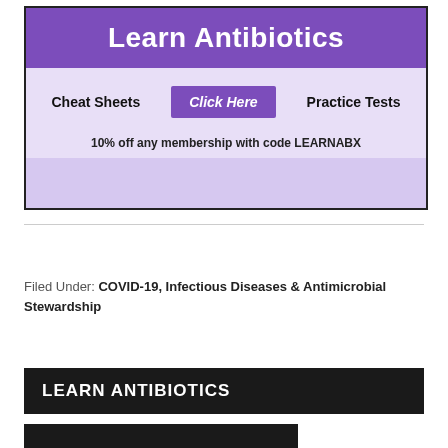[Figure (illustration): Advertisement banner for Learn Antibiotics website showing 'Learn Antibiotics' title on purple background, cheat sheets and practice tests options with a purple 'Click Here' button, and promotional text '10% off any membership with code LEARNABX']
Filed Under: COVID-19, Infectious Diseases & Antimicrobial Stewardship
LEARN ANTIBIOTICS
[Figure (screenshot): Partial black image strip at the bottom of the page]